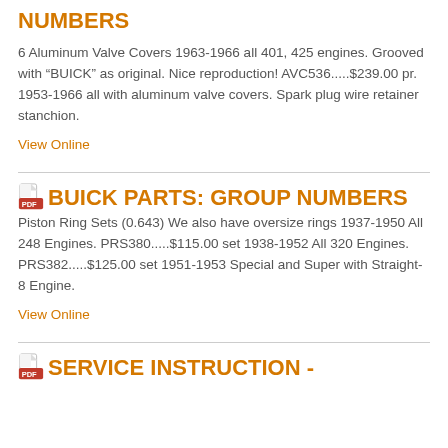NUMBERS
6 Aluminum Valve Covers 1963-1966 all 401, 425 engines. Grooved with “BUICK” as original. Nice reproduction! AVC536.....$239.00 pr. 1953-1966 all with aluminum valve covers. Spark plug wire retainer stanchion.
View Online
BUICK PARTS: GROUP NUMBERS
Piston Ring Sets (0.643) We also have oversize rings 1937-1950 All 248 Engines. PRS380.....$115.00 set 1938-1952 All 320 Engines. PRS382.....$125.00 set 1951-1953 Special and Super with Straight-8 Engine.
View Online
SERVICE INSTRUCTION -